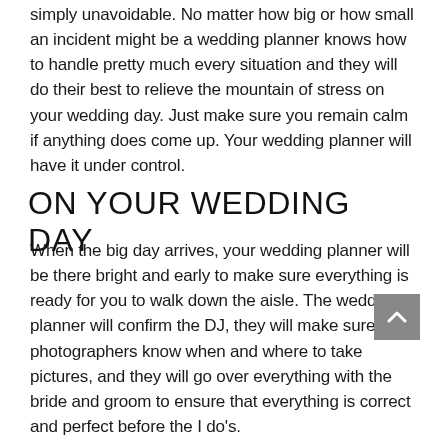simply unavoidable. No matter how big or how small an incident might be a wedding planner knows how to handle pretty much every situation and they will do their best to relieve the mountain of stress on your wedding day. Just make sure you remain calm if anything does come up. Your wedding planner will have it under control.
ON YOUR WEDDING DAY
When the big day arrives, your wedding planner will be there bright and early to make sure everything is ready for you to walk down the aisle. The wedding planner will confirm the DJ, they will make sure the photographers know when and where to take pictures, and they will go over everything with the bride and groom to ensure that everything is correct and perfect before the I do's.